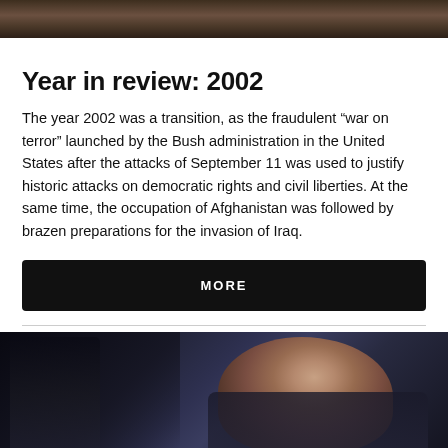[Figure (photo): Top portion of a photograph showing dark, shadowy figures outdoors]
Year in review: 2002
The year 2002 was a transition, as the fraudulent “war on terror” launched by the Bush administration in the United States after the attacks of September 11 was used to justify historic attacks on democratic rights and civil liberties. At the same time, the occupation of Afghanistan was followed by brazen preparations for the invasion of Iraq.
MORE
[Figure (photo): Photograph of a grey-haired man in a dark suit, appearing to be at a formal hearing or meeting, with another person visible behind him]